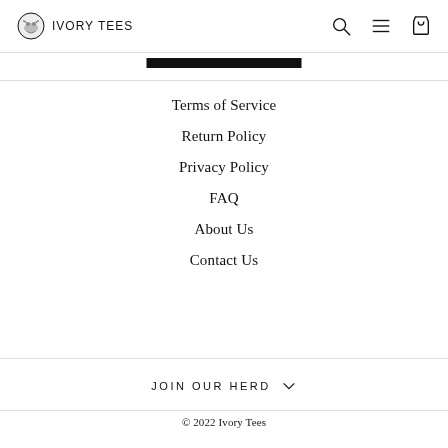IVORY TEES
Terms of Service
Return Policy
Privacy Policy
FAQ
About Us
Contact Us
JOIN OUR HERD
© 2022 Ivory Tees